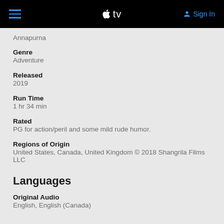Apple TV — Sign In
Annapurna
Genre
Adventure
Released
2019
Run Time
1 hr 34 min
Rated
PG for action/peril and some mild rude humor.
Regions of Origin
United States, Canada, United Kingdom © 2018 Shangrila Films LLC
Languages
Original Audio
English, English (Canada)